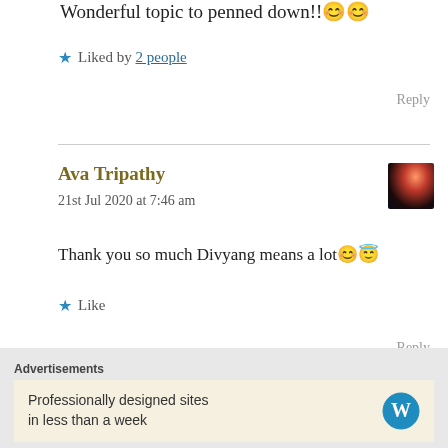Wonderful topic to penned down!!😊😊
★ Liked by 2 people
Reply
Ava Tripathy
21st Jul 2020 at 7:46 am
Thank you so much Divyang means a lot😊😇
★ Like
Reply
Advertisements
Professionally designed sites in less than a week